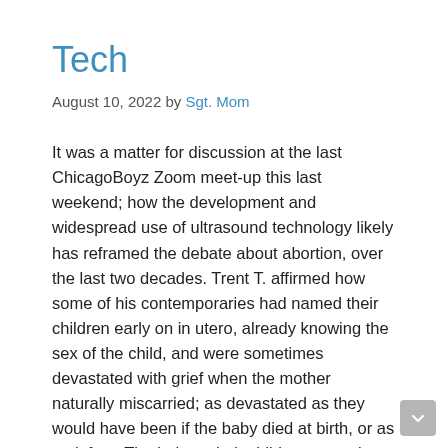Tech
August 10, 2022 by Sgt. Mom
It was a matter for discussion at the last ChicagoBoyz Zoom meet-up this last weekend; how the development and widespread use of ultrasound technology likely has reframed the debate about abortion, over the last two decades. Trent T. affirmed how some of his contemporaries had named their children early on in utero, already knowing the sex of the child, and were sometimes devastated with grief when the mother naturally miscarried; as devastated as they would have been if the baby died at birth, or as an infant. The baby – their child – was real to them. They had pictures in indistinct black and white images of that their child –